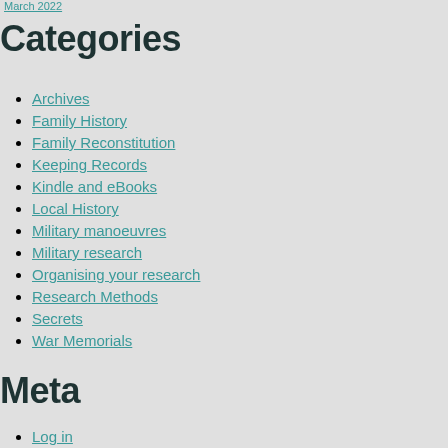March 2022
Categories
Archives
Family History
Family Reconstitution
Keeping Records
Kindle and eBooks
Local History
Military manoeuvres
Military research
Organising your research
Research Methods
Secrets
War Memorials
Meta
Log in